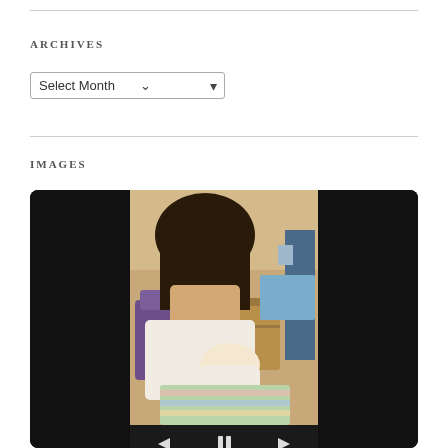ARCHIVES
Select Month
IMAGES
[Figure (photo): Video player interface showing a woman holding a newborn baby in a hospital room. The video player has a black background with the photo centered, and playback controls (back arrow, pause button, forward arrow) at the bottom.]